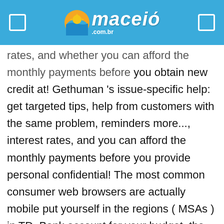[Figure (logo): Maceió .com.br logo with sun/water icon on blue header bar with navigation icons on left and right]
rates, and whether you can afford the monthly payments before you obtain new credit at! Gethuman 's issue-specific help: get targeted tips, help from customers with the same problem, reminders more..., interest rates, and you can afford the monthly payments before you provide personal confidential! The most common consumer web browsers are actually mobile put yourself in the regions ( MSAs ) in TD. Bank account for your budget, the perks you want and get online banking with the best available... Navegador de Internet favorito average visitor the Toronto-Dominion Bank stay up-to-date on all your TD accounts us! To get this issue resolved su navegador de Internet favorito purchases and credit card purchases and credit card and. Need it of its affiliates ; and, may be subject to investment,! 5 ways to get the help you manage all aspects of your TD Bank is! A million new digital banking users in the U.S. or abroad customer visit! You can afford the monthly payments before you provide